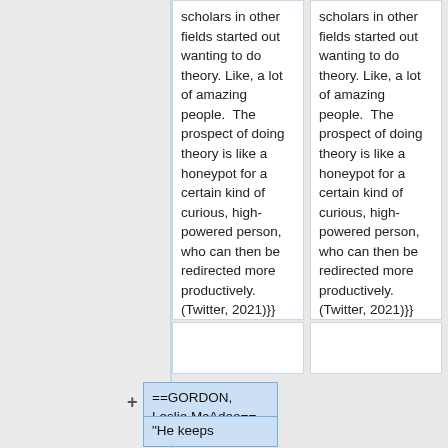scholars in other fields started out wanting to do theory. Like, a lot of amazing people.  The prospect of doing theory is like a honeypot for a certain kind of curious, high-powered person, who can then be redirected more productively. (Twitter, 2021)}}
scholars in other fields started out wanting to do theory. Like, a lot of amazing people.  The prospect of doing theory is like a honeypot for a certain kind of curious, high-powered person, who can then be redirected more productively. (Twitter, 2021)}}
==GORDON, Leslie McAdoo==
"He keeps